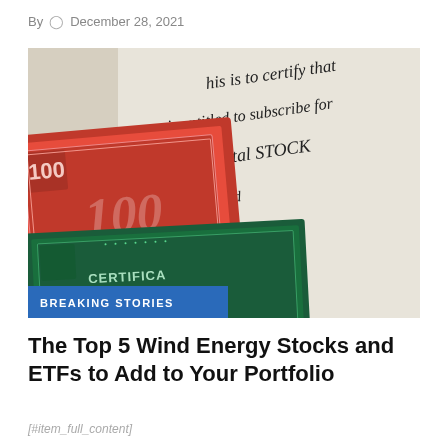By  ○ December 28, 2021
[Figure (photo): Close-up photograph of vintage stock certificates — a red certificate showing '100 SHARES' and a green certificate marked 'CERTIFICATE FOR', overlaid on handwritten cursive text reading 'This is to certify that...is entitled to subscribe for...convey capital stock of the Board of Directors'. Blue label overlay reads 'BREAKING STORIES'.]
The Top 5 Wind Energy Stocks and ETFs to Add to Your Portfolio
[#item_full_content]